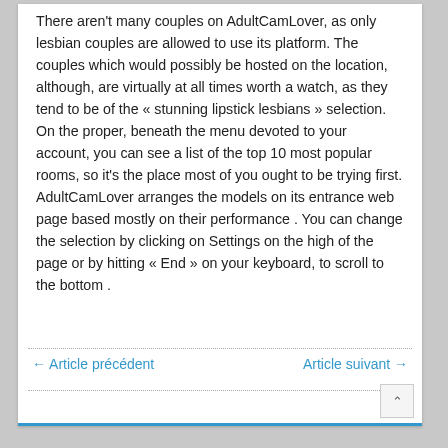There aren't many couples on AdultCamLover, as only lesbian couples are allowed to use its platform. The couples which would possibly be hosted on the location, although, are virtually at all times worth a watch, as they tend to be of the « stunning lipstick lesbians » selection. On the proper, beneath the menu devoted to your account, you can see a list of the top 10 most popular rooms, so it's the place most of you ought to be trying first. AdultCamLover arranges the models on its entrance web page based mostly on their performance . You can change the selection by clicking on Settings on the high of the page or by hitting « End » on your keyboard, to scroll to the bottom .
← Article précédent    Article suivant →